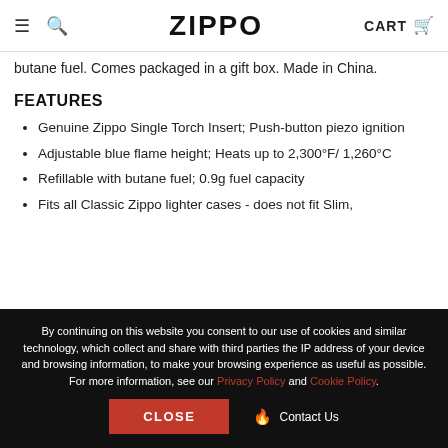ZIPPO CART
butane fuel. Comes packaged in a gift box. Made in China.
FEATURES
Genuine Zippo Single Torch Insert; Push-button piezo ignition
Adjustable blue flame height; Heats up to 2,300°F/1,260°C
Refillable with butane fuel; 0.9g fuel capacity
Fits all Classic Zippo lighter cases - does not fit Slim,
By continuing on this website you consent to our use of cookies and similar technology, which collect and share with third parties the IP address of your device and browsing information, to make your browsing experience as useful as possible. For more information, see our Privacy Policy and Cookie Policy.
CLOSE   Contact Us